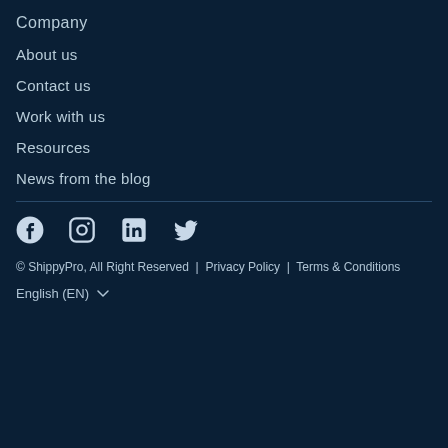Company
About us
Contact us
Work with us
Resources
News from the blog
[Figure (illustration): Social media icons: Facebook, Instagram, LinkedIn, Twitter]
© ShippyPro, All Right Reserved | Privacy Policy | Terms & Conditions
English (EN) ▾